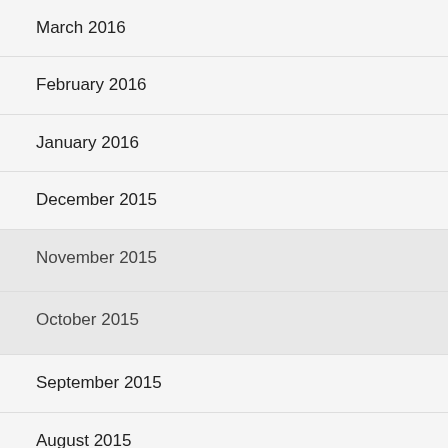March 2016
February 2016
January 2016
December 2015
November 2015
October 2015
September 2015
August 2015
July 2015